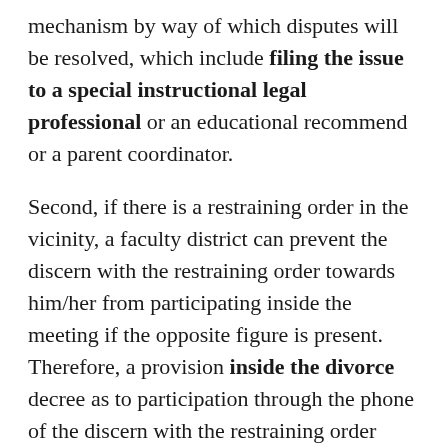mechanism by way of which disputes will be resolved, which include filing the issue to a special instructional legal professional or an educational recommend or a parent coordinator.
Second, if there is a restraining order in the vicinity, a faculty district can prevent the discern with the restraining order towards him/her from participating inside the meeting if the opposite figure is present. Therefore, a provision inside the divorce decree as to participation through the phone of the discern with the restraining order towards them has to be considered.
Third, on occasion, your client's child needs personal critiques. Who pays for them, and which discern selects the evaluator? If there may be a disagreement with the faculty district